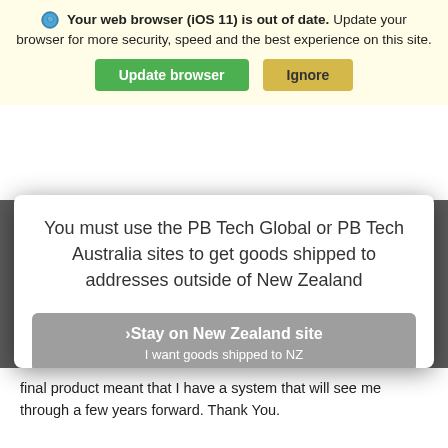Your web browser (iOS 11) is out of date. Update your browser for more security, speed and the best experience on this site.
It looks like you are coming from outside of New Zealand.
You must use the PB Tech Global or PB Tech Australia sites to get goods shipped to addresses outside of New Zealand
› Stay on New Zealand site
I want goods shipped to NZ
›Take me to the Global site
I want goods shipped outside of NZ
Or visit www.pbtech.com/au for shipping to Australia destinations
final product meant that I have a system that will see me through a few years forward. Thank You.